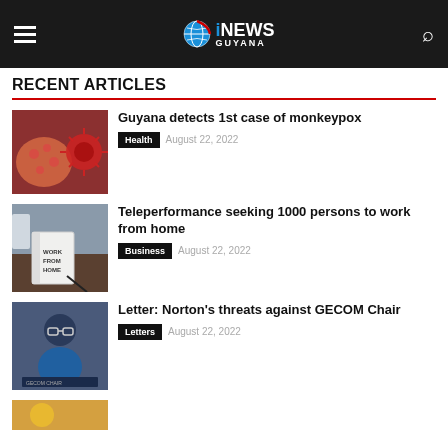iNEWS GUYANA
RECENT ARTICLES
[Figure (photo): Close-up of monkeypox skin lesions with red viral illustration]
Guyana detects 1st case of monkeypox
Health   August 22, 2022
[Figure (photo): Notebook with 'Work From Home' written on it, on a desk]
Teleperformance seeking 1000 persons to work from home
Business   August 22, 2022
[Figure (photo): Woman at podium, appears to be a press conference]
Letter: Norton's threats against GECOM Chair
Letters   August 22, 2022
[Figure (photo): Partial thumbnail, yellow/orange tones]